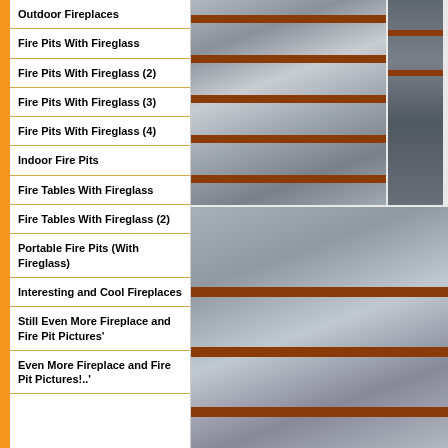Outdoor Fireplaces
Fire Pits With Fireglass
Fire Pits With Fireglass (2)
Fire Pits With Fireglass (3)
Fire Pits With Fireglass (4)
Indoor Fire Pits
Fire Tables With Fireglass
Fire Tables With Fireglass (2)
Portable Fire Pits (With Fireglass)
Interesting and Cool Fireplaces
Still Even More Fireplace and Fire Pit Pictures'
Even More Fireplace and Fire Pit Pictures!..'
[Figure (photo): Metal fire pit or fireplace trough with horizontal red/brown stripe accents, viewed from the side in a workshop or showroom setting]
[Figure (photo): Partial view of a metal fireplace or fire pit unit with red stripe accents, shown in a showroom]
[Figure (photo): Large stainless steel rectangular fire pit trough with horizontal red/orange stripe accents, displayed in a workshop or showroom environment]